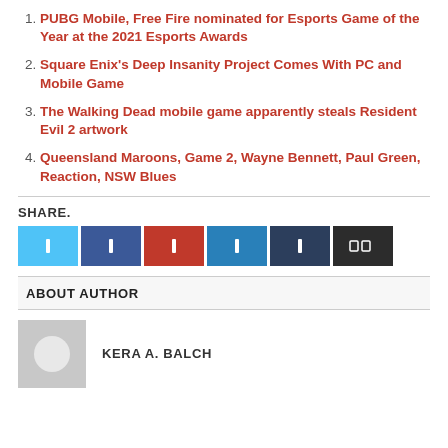PUBG Mobile, Free Fire nominated for Esports Game of the Year at the 2021 Esports Awards
Square Enix's Deep Insanity Project Comes With PC and Mobile Game
The Walking Dead mobile game apparently steals Resident Evil 2 artwork
Queensland Maroons, Game 2, Wayne Bennett, Paul Green, Reaction, NSW Blues
SHARE.
ABOUT AUTHOR
KERA A. BALCH